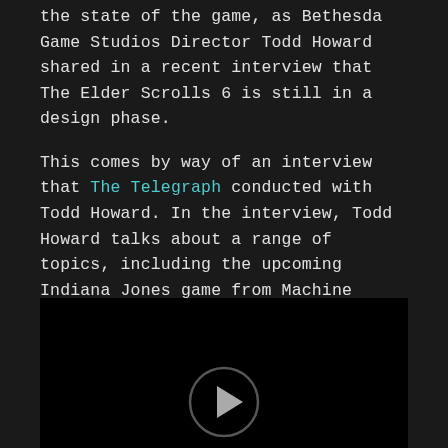the state of the game, as Bethesda Game Studios Director Todd Howard shared in a recent interview that The Elder Scrolls 6 is still in a design phase.
This comes by way of an interview that The Telegraph conducted with Todd Howard. In the interview, Todd Howard talks about a range of topics, including the upcoming Indiana Jones game from Machine Games, Starfield, and most interestingly - The Elder Scrolls 6. Not much is known about the long-awaited follow up to Skyrim, not even a title. However, Howard does speak about the game's development during the interview.
[Figure (screenshot): Black video thumbnail with a circular play/pause icon at the bottom center]